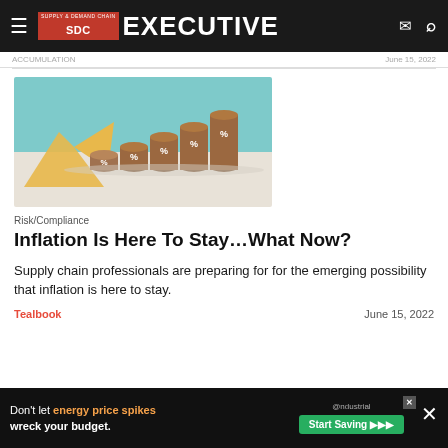Supply & Demand Chain Executive
ACCUMULATION · June 15, 2022
[Figure (photo): Rising wooden coin cylinders with percentage signs and a golden upward arrow, symbolizing inflation and rising prices, against a teal and light background.]
Risk/Compliance
Inflation Is Here To Stay…What Now?
Supply chain professionals are preparing for for the emerging possibility that inflation is here to stay.
Tealbook · June 15, 2022